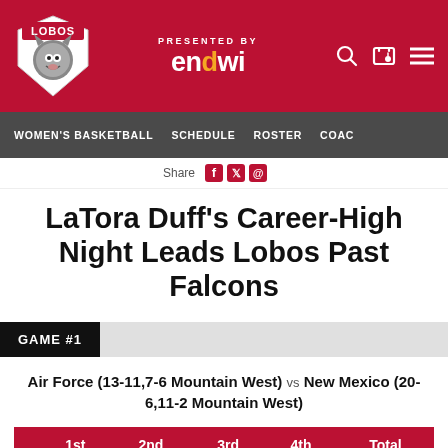PRESENTED BY endwi — Women's Basketball navigation header
Share
LaTora Duff's Career-High Night Leads Lobos Past Falcons
GAME #1
Air Force (13-11,7-6 Mountain West) vs New Mexico (20-6,11-2 Mountain West)
|  | 1st | 2nd | 3rd | 4th | Total |
| --- | --- | --- | --- | --- | --- |